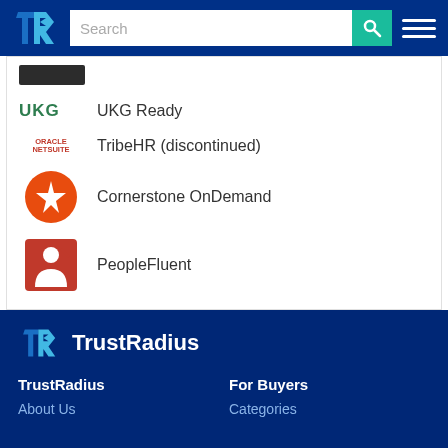TrustRadius navigation header with search bar
UKG Ready
TribeHR (discontinued)
Cornerstone OnDemand
PeopleFluent
[Figure (logo): TrustRadius logo in white on dark blue footer background]
TrustRadius
For Buyers
About Us
Categories